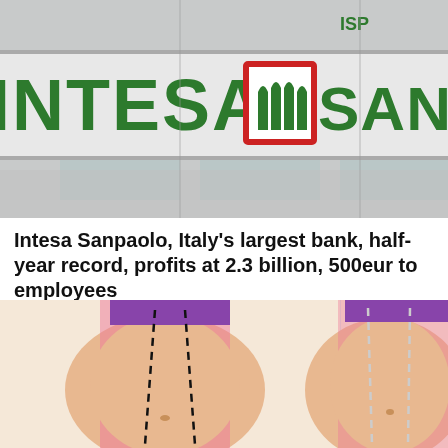[Figure (photo): Photo of Intesa Sanpaolo bank building exterior sign, showing 'INTESA' and 'SANPAOLO' in large green letters with the bank's red-bordered logo in between, against a light gray building facade.]
Intesa Sanpaolo, Italy's largest bank, half-year record, profits at 2.3 billion, 500eur to employees
Sponsored: World Medias
[Figure (illustration): Cartoon illustration showing two side-by-side female torso figures in swimwear, with dashed lines indicating body contouring or weight loss transformation, one figure with a larger belly and one with a slimmer waist.]